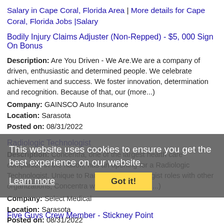Salary in Cape Coral, Florida Area | More details for Cape Coral, Florida Jobs |Salary
Bodily Injury Claims Adjuster (Non-Repped) - $5, 000 Sign On Bonus
Description: Are You Driven - We Are.We are a company of driven, enthusiastic and determined people. We celebrate achievement and success. We foster innovation, determination and recognition. Because of that, our (more...)
Company: GAINSCO Auto Insurance
Location: Sarasota
Posted on: 08/31/2022
Radiologic Technologist
Description: Concentra, one of the largest health care companies in the nation, has an opening for a Radiologic Technologist. Unique to Radiologist Technologist roles with other organizations, Concentra will empower (more...)
Company: Select Medical
Location: Sarasota
Posted on: 08/31/2022
[Figure (screenshot): Cookie consent overlay with text 'This website uses cookies to ensure you get the best experience on our website.' with a 'Learn more' link and a yellow 'Got it!' button]
Five Guys Crew Member - Stickney Point